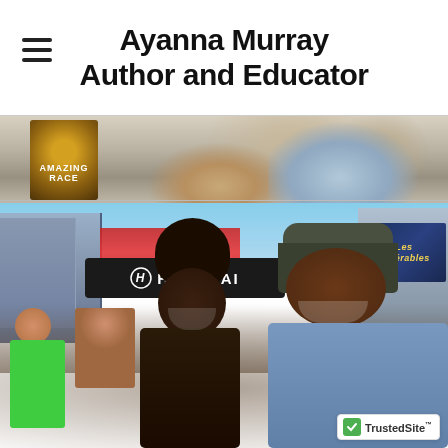Ayanna Murray
Author and Educator
[Figure (photo): Partial top photo showing a book cover with 'Amazing' text and partial view of people]
[Figure (photo): Two people taking a selfie in Times Square, New York City, with Hyundai sign and Les Miserables billboard visible in background, crowd of people behind them]